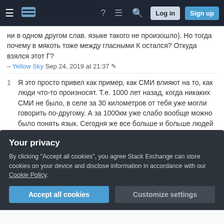Stack Exchange navigation bar with hamburger menu, logo, help, inbox, search icons, Log in and Sign up buttons
ни в одном другом слав. языке такого не произошло). Но тогда почему в мякоть тоже между гласными К остался? Откуда взялся этот Г?
– Yellow Sky Sep 24, 2019 at 21:37
1  Я это просто привел как пример, как СМИ влияют на то, как люди что-то произносят. Т.е. 1000 лет назад, когда никаких СМИ не было, в селе за 30 километров от тебя уже могли говорить по-другому. А за 1000км уже слабо вообще можно было понять язык. Сегодня же все больше и больше людей на огромных расстояних говорят все более одинаково. Т.е. разнообразие произношений в целом сужается, а по вашей версии оно со славянских времен
Your privacy
By clicking "Accept all cookies", you agree Stack Exchange can store cookies on your device and disclose information in accordance with our Cookie Policy.
Accept all cookies
Customize settings